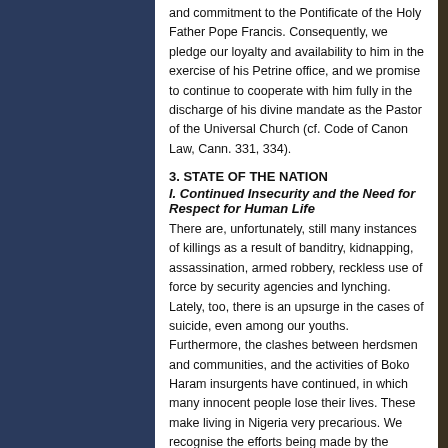and commitment to the Pontificate of the Holy Father Pope Francis. Consequently, we pledge our loyalty and availability to him in the exercise of his Petrine office, and we promise to continue to cooperate with him fully in the discharge of his divine mandate as the Pastor of the Universal Church (cf. Code of Canon Law, Cann. 331, 334).
3. STATE OF THE NATION
I. Continued Insecurity and the Need for Respect for Human Life
There are, unfortunately, still many instances of killings as a result of banditry, kidnapping, assassination, armed robbery, reckless use of force by security agencies and lynching. Lately, too, there is an upsurge in the cases of suicide, even among our youths. Furthermore, the clashes between herdsmen and communities, and the activities of Boko Haram insurgents have continued, in which many innocent people lose their lives. These make living in Nigeria very precarious. We recognise the efforts being made by the government to fight insecurity in the land. However, we emphasise that a lot more still needs to be done in this regard. We